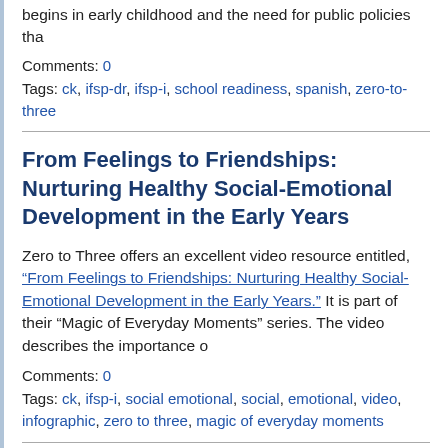begins in early childhood and the need for public policies tha
Comments: 0
Tags: ck, ifsp-dr, ifsp-i, school readiness, spanish, zero-to-three
From Feelings to Friendships: Nurturing Healthy Social-Emotional Development in the Early Years
Zero to Three offers an excellent video resource entitled, “From Feelings to Friendships: Nurturing Healthy Social-Emotional Development in the Early Years.” It is part of their “Magic of Everyday Moments” series. The video describes the importance o
Comments: 0
Tags: ck, ifsp-i, social emotional, social, emotional, video, infographic, zero to three, magic of everyday moments